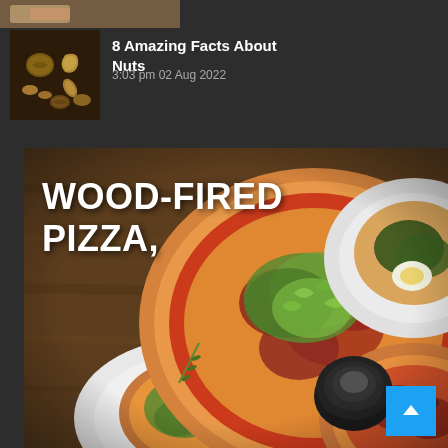[Figure (photo): Partial photo at very top of page, cropped, showing a food item (partially visible)]
[Figure (photo): Thumbnail photo of mixed nuts arranged on a surface]
8 Amazing Facts About Nuts
3:03 pm 02 Aug 2022
[Figure (photo): Large overhead photo of wood-fired pizzas on a wooden table with multiple plates, herbs, and a dark cup. Text overlay reads WOOD-FIRED PIZZA,]